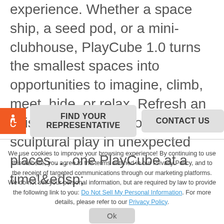experience. Whether a space ship, a seed pod, or a mini-clubhouse, PlayCube 1.0 turns the smallest spaces into opportunities to imagine, climb, meet, hide, or relax. Refresh an existing playground or add new sculptural play in unexpected places … one PlayCube at a time!&edsp;
[Figure (infographic): Accessibility icon (orange background with wheelchair user symbol) followed by two grey buttons: FIND YOUR REPRESENTATIVE and CONTACT US]
We use cookies to improve your browsing experience! By continuing to use this website, you agree to the terms outlined in our Privacy Policy, and to the receipt of targeted communications through our marketing platforms. We do not sell your personal information, but are required by law to provide the following link to you: Do Not Sell My Personal Information. For more details, please refer to our Privacy Policy.
Ok